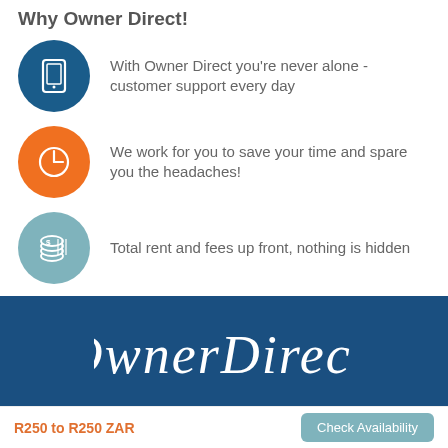Why Owner Direct!
With Owner Direct you're never alone - customer support every day
We work for you to save your time and spare you the headaches!
Total rent and fees up front, nothing is hidden
[Figure (logo): Owner Direct cursive script logo in white on dark blue banner background]
R250 to R250 ZAR
Check Availability